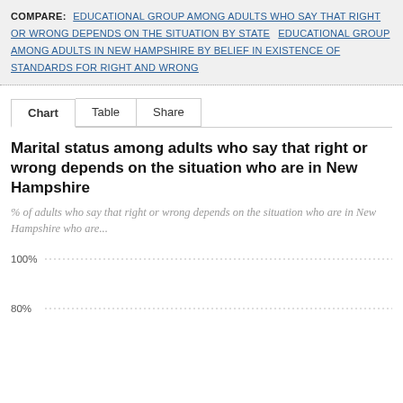COMPARE: EDUCATIONAL GROUP AMONG ADULTS WHO SAY THAT RIGHT OR WRONG DEPENDS ON THE SITUATION BY STATE  EDUCATIONAL GROUP AMONG ADULTS IN NEW HAMPSHIRE BY BELIEF IN EXISTENCE OF STANDARDS FOR RIGHT AND WRONG
Chart  Table  Share
Marital status among adults who say that right or wrong depends on the situation who are in New Hampshire
% of adults who say that right or wrong depends on the situation who are in New Hampshire who are...
[Figure (bar-chart): Partial bar chart visible showing y-axis gridlines at 100% and 80%, chart data cut off at bottom of page]